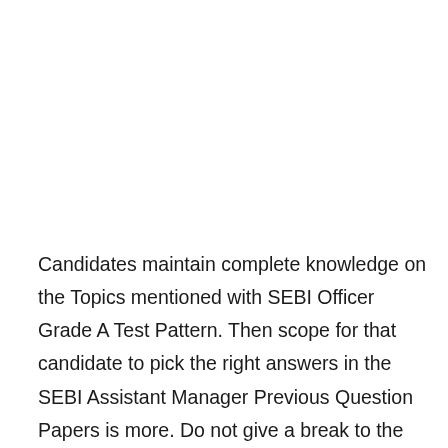Candidates maintain complete knowledge on the Topics mentioned with SEBI Officer Grade A Test Pattern. Then scope for that candidate to pick the right answers in the SEBI Assistant Manager Previous Question Papers is more. Do not give a break to the preparation at any time. So, prepare a time table to complete the Syllabus first and then complete the www.employmentsamachar.in specified SEBI Officer